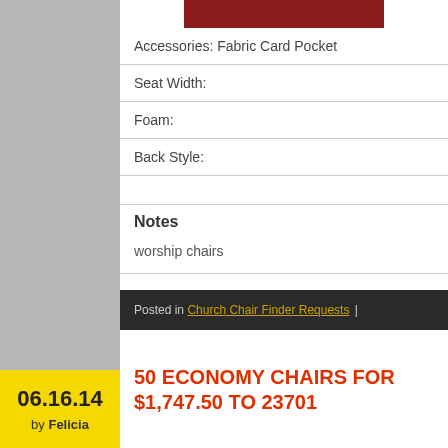[Figure (photo): Red fabric texture swatch at top center of page]
Accessories: Fabric Card Pocket
Seat Width:
Foam:
Back Style:
Notes
worship chairs
Posted in Church Chair Finder Requests |
50 ECONOMY CHAIRS FOR $1,747.50 TO 23701
06.16.14 by Felicia